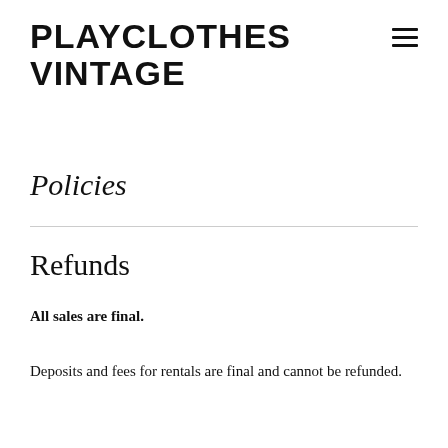PLAYCLOTHES VINTAGE
Policies
Refunds
All sales are final.
Deposits and fees for rentals are final and cannot be refunded.